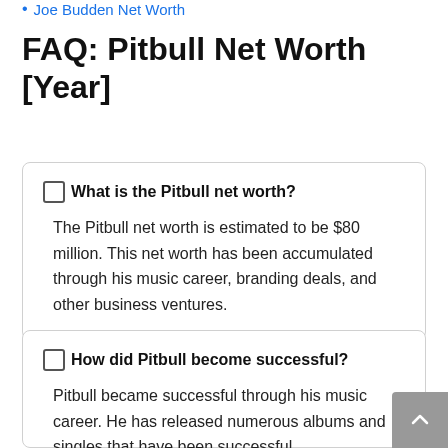Joe Budden Net Worth
FAQ: Pitbull Net Worth [Year]
☐ What is the Pitbull net worth?
The Pitbull net worth is estimated to be $80 million. This net worth has been accumulated through his music career, branding deals, and other business ventures.
☐ How did Pitbull become successful?
Pitbull became successful through his music career. He has released numerous albums and singles that have been successful